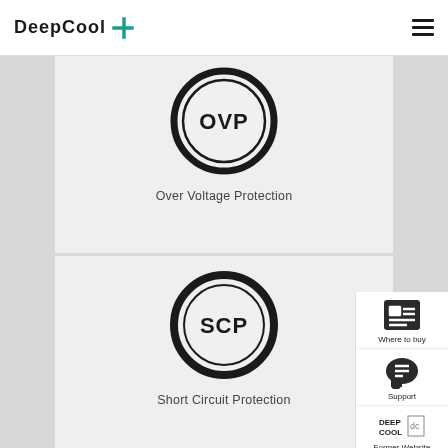DeepCool
[Figure (illustration): OVP circular badge icon with bold ring border and text OVP in the center]
Over Voltage Protection
[Figure (illustration): SCP circular badge icon with bold ring border and text SCP in the center]
Short Circuit Protection
[Figure (illustration): Where to buy icon - square grid icon with sidebar label]
[Figure (illustration): Support icon - chat bubble icon with sidebar label]
[Figure (illustration): DeepCool Former Website icon with sidebar label]
[Figure (illustration): TOP button with upward chevron arrow]